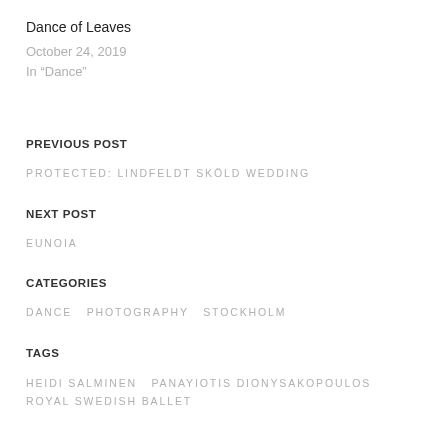Dance of Leaves
October 24, 2019
In "Dance"
PREVIOUS POST
PROTECTED: LINDFELDT SKÖLD WEDDING
NEXT POST
EUNOIA
CATEGORIES
DANCE   PHOTOGRAPHY   STOCKHOLM
TAGS
HEIDI SALMINEN   PANAYIOTIS DIONYSAKOPOULOS
ROYAL SWEDISH BALLET